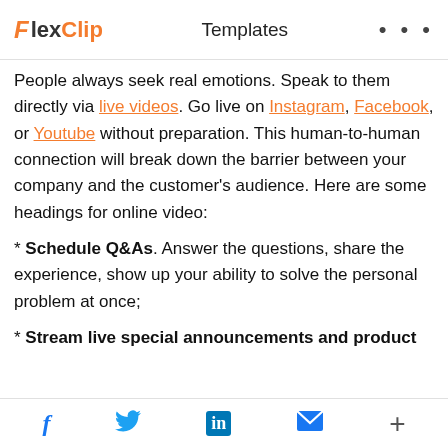FlexClip Templates •••
People always seek real emotions. Speak to them directly via live videos. Go live on Instagram, Facebook, or Youtube without preparation. This human-to-human connection will break down the barrier between your company and the customer's audience. Here are some headings for online video:
* Schedule Q&As. Answer the questions, share the experience, show up your ability to solve the personal problem at once;
* Stream live special announcements and product
f  Twitter  in  mail  +